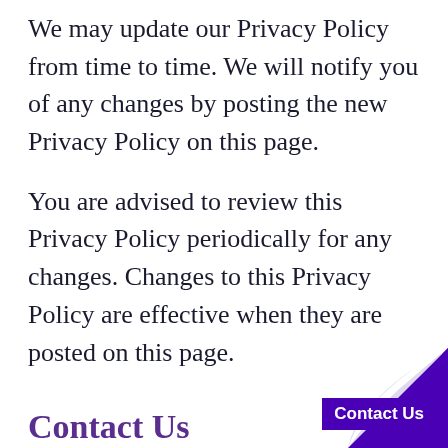We may update our Privacy Policy from time to time. We will notify you of any changes by posting the new Privacy Policy on this page.
You are advised to review this Privacy Policy periodically for any changes. Changes to this Privacy Policy are effective when they are posted on this page.
Contact Us